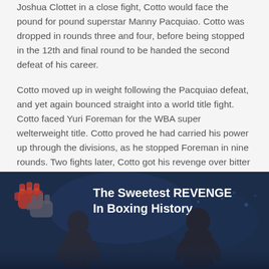Joshua Clottet in a close fight, Cotto would face the pound for pound superstar Manny Pacquiao. Cotto was dropped in rounds three and four, before being stopped in the 12th and final round to be handed the second defeat of his career.
Cotto moved up in weight following the Pacquiao defeat, and yet again bounced straight into a world title fight. Cotto faced Yuri Foreman for the WBA super welterweight title. Cotto proved he had carried his power up through the divisions, as he stopped Foreman in nine rounds. Two fights later, Cotto got his revenge over bitter rival Margarito. After a heated build up, Cotto would force Margarito to retire from the bout in the ninth round following damage sustained to Margarito's right eye. This would probably go down as one of the sweetest revenge moments in boxing history.
[Figure (photo): A boxing-themed image with dark blue background showing two boxers and a fist logo icon on the left. Text reads 'The Sweetest REVENGE In Boxing History'.]